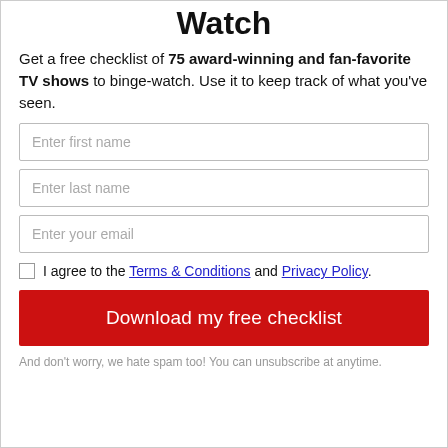Watch
Get a free checklist of 75 award-winning and fan-favorite TV shows to binge-watch. Use it to keep track of what you've seen.
Enter first name
Enter last name
Enter your email
I agree to the Terms & Conditions and Privacy Policy.
Download my free checklist
And don't worry, we hate spam too! You can unsubscribe at anytime.